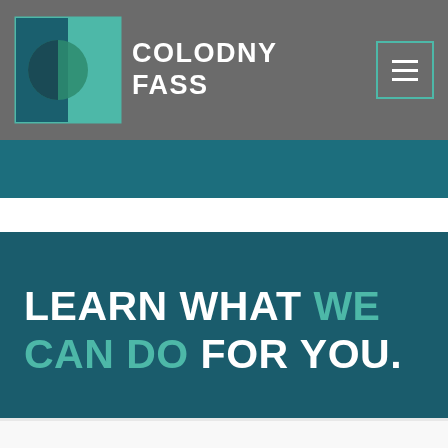[Figure (logo): Colodny Fass law firm logo: geometric square icon with teal and dark teal quadrants and a circular element, next to bold white text reading COLODNY FASS]
[Figure (other): Hamburger menu button with three white horizontal lines inside a teal-outlined square, on gray header background]
LEARN WHAT WE CAN DO FOR YOU.